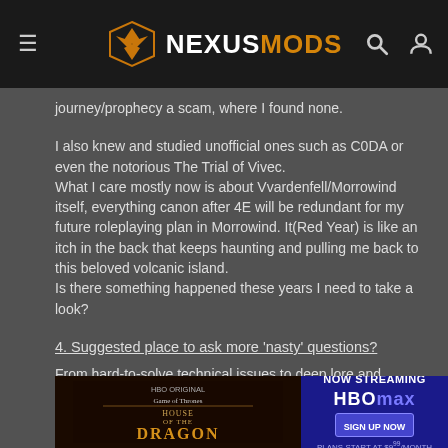NEXUSMODS
journey/prophecy a scam, where I found none.
I also knew and studied unofficial ones such as C0DA or even the notorious The Trial of Vivec.
What I care mostly now is about Vvardenfell/Morrowind itself, everything canon after 4E will be redundant for my future roleplaying plan in Morrowind. It(Red Year) is like an itch in the back that keeps haunting and pulling me back to this beloved volcanic island.
Is there something happened these years I need to take a look?
4. Suggested place to ask more 'nasty' questions?
From hard-to-solve technical issues to deep lore and modding, you decide. (such as asking for a mod li  o reve                                                          r to prev
[Figure (screenshot): HBO Original Game of Thrones House of the Dragon advertisement banner with HBO Max Now Streaming Sign Up Now - Plans Start at $9/month]